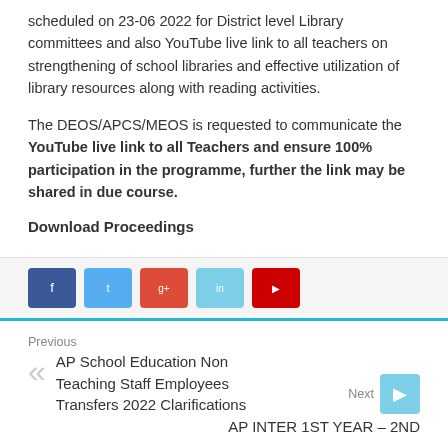scheduled on 23-06 2022 for District level Library committees and also YouTube live link to all teachers on strengthening of school libraries and effective utilization of library resources along with reading activities.
The DEOS/APCS/MEOS is requested to communicate the YouTube live link to all Teachers and ensure 100% participation in the programme, further the link may be shared in due course.
Download Proceedings
[Figure (other): Row of social media share buttons: Facebook (dark blue), Twitter (light blue), Google+ (red/orange), LinkedIn (light blue), YouTube (red)]
Previous
AP School Education Non Teaching Staff Employees Transfers 2022 Clarifications
Next
AP INTER 1ST YEAR – 2ND